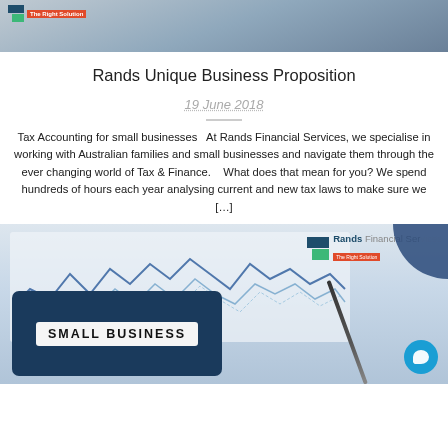[Figure (photo): Header image showing a desk with papers and a Rands Financial Services logo with 'The Right Solution' tagline]
Rands Unique Business Proposition
19 June 2018
Tax Accounting for small businesses   At Rands Financial Services, we specialise in working with Australian families and small businesses and navigate them through the ever changing world of Tax & Finance.   What does that mean for you? We spend hundreds of hours each year analysing current and new tax laws to make sure we [...]
[Figure (photo): Bottom image showing a calculator displaying 'SMALL BUSINESS' with financial charts in the background and the Rands Financial Services logo]